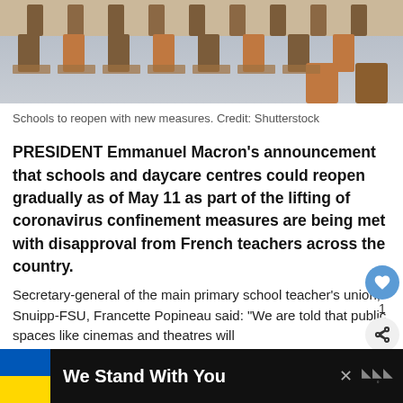[Figure (photo): Empty classroom with rows of wooden chairs and desks, viewed from above/side angle]
Schools to reopen with new measures. Credit: Shutterstock
PRESIDENT Emmanuel Macron's announcement that schools and daycare centres could reopen gradually as of May 11 as part of the lifting of coronavirus confinement measures are being met with disapproval from French teachers across the country.
Secretary-general of the main primary school teacher's union, Snuipp-FSU, Francette Popineau said: “We are told that public spaces like cinemas and theatres will
[Figure (infographic): Banner at bottom: blue and yellow Ukrainian flag on left, text 'We Stand With You' in white on black background, close button X, and a logo on the right]